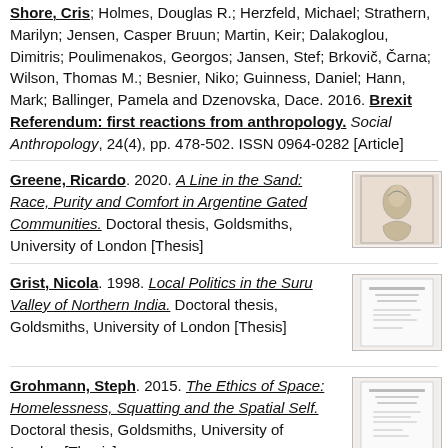Shore, Cris; Holmes, Douglas R.; Herzfeld, Michael; Strathern, Marilyn; Jensen, Casper Bruun; Martin, Keir; Dalakoglou, Dimitris; Poulimenakos, Georgos; Jansen, Stef; Brkovič, Čarna; Wilson, Thomas M.; Besnier, Niko; Guinness, Daniel; Hann, Mark; Ballinger, Pamela and Dzenovska, Dace. 2016. Brexit Referendum: first reactions from anthropology. Social Anthropology, 24(4), pp. 478-502. ISSN 0964-0282 [Article]
Greene, Ricardo. 2020. A Line in the Sand: Race, Purity and Comfort in Argentine Gated Communities. Doctoral thesis, Goldsmiths, University of London [Thesis]
[Figure (photo): Thumbnail image of thesis cover showing a portrait photograph]
Grist, Nicola. 1998. Local Politics in the Suru Valley of Northern India. Doctoral thesis, Goldsmiths, University of London [Thesis]
[Figure (photo): Thumbnail image of thesis cover showing a document title page]
Grohmann, Steph. 2015. The Ethics of Space: Homelessness, Squatting and the Spatial Self. Doctoral thesis, Goldsmiths, University of London [Thesis]
[Figure (photo): Thumbnail image of thesis cover showing a document title page]